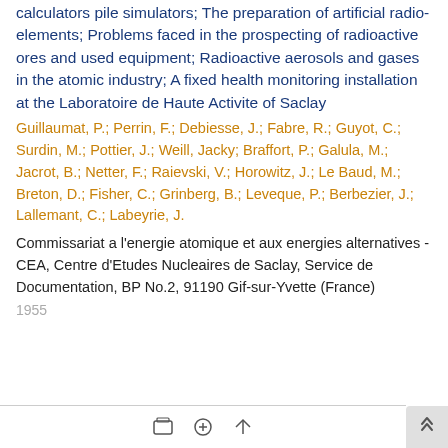calculators pile simulators; The preparation of artificial radio-elements; Problems faced in the prospecting of radioactive ores and used equipment; Radioactive aerosols and gases in the atomic industry; A fixed health monitoring installation at the Laboratoire de Haute Activite of Saclay
Guillaumat, P.; Perrin, F.; Debiesse, J.; Fabre, R.; Guyot, C.; Surdin, M.; Pottier, J.; Weill, Jacky; Braffort, P.; Galula, M.; Jacrot, B.; Netter, F.; Raievski, V.; Horowitz, J.; Le Baud, M.; Breton, D.; Fisher, C.; Grinberg, B.; Leveque, P.; Berbezier, J.; Lallemant, C.; Labeyrie, J.
Commissariat a l'energie atomique et aux energies alternatives - CEA, Centre d'Etudes Nucleaires de Saclay, Service de Documentation, BP No.2, 91190 Gif-sur-Yvette (France)
1955